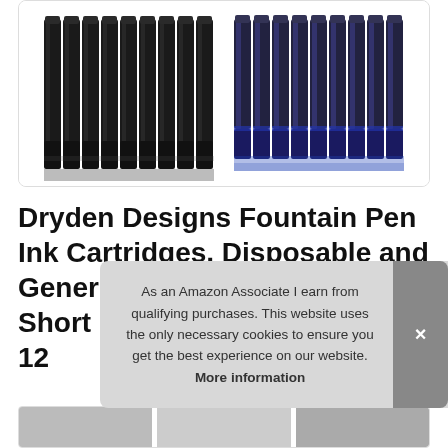[Figure (photo): Product photo showing two groups of fountain pen ink cartridges — black cartridges on the left and blue cartridges on the right — arranged vertically and close together, viewed from the top.]
Dryden Designs Fountain Pen Ink Cartridges, Disposable and Generic Ink Refill Cartridges, Short International Standard, 12
As an Amazon Associate I earn from qualifying purchases. This website uses the only necessary cookies to ensure you get the best experience on our website. More information
[Figure (photo): Bottom thumbnail strip showing product images partially visible at the bottom of the page.]